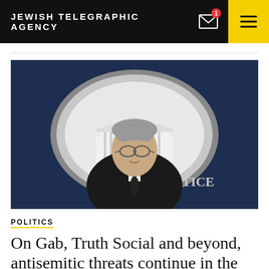JEWISH TELEGRAPHIC AGENCY
[Figure (photo): A man with gray hair and glasses speaking at a podium in front of the U.S. Department of Justice seal]
POLITICS
On Gab, Truth Social and beyond, antisemitic threats continue in the